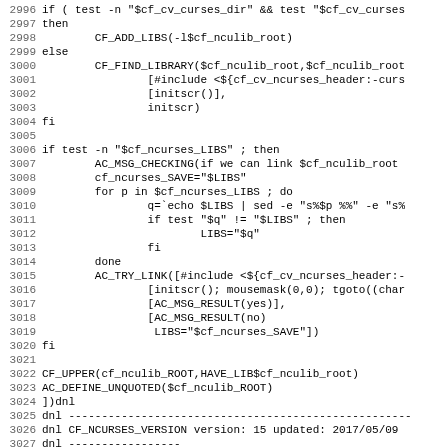[Figure (screenshot): Source code listing showing shell/autoconf script code, lines 2996-3027, with line numbers on the left and code on the right in monospace font on white background.]